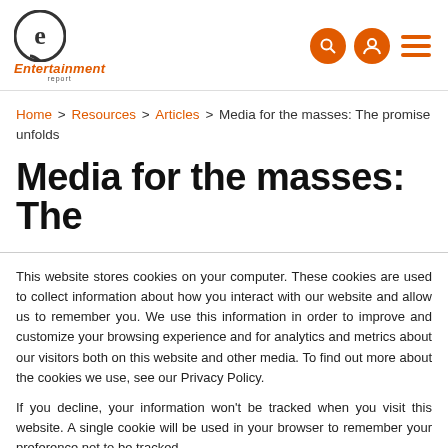Entertainment report
Home > Resources > Articles > Media for the masses: The promise unfolds
Media for the masses: The promise unfolds
This website stores cookies on your computer. These cookies are used to collect information about how you interact with our website and allow us to remember you. We use this information in order to improve and customize your browsing experience and for analytics and metrics about our visitors both on this website and other media. To find out more about the cookies we use, see our Privacy Policy.
If you decline, your information won't be tracked when you visit this website. A single cookie will be used in your browser to remember your preference not to be tracked.